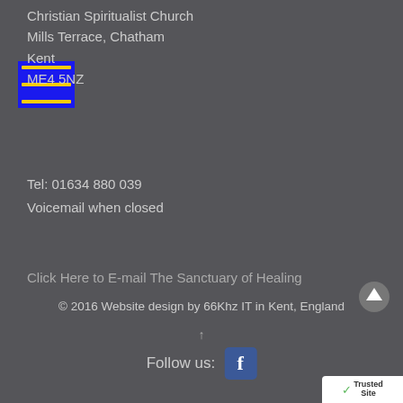Christian Spiritualist Church
Mills Terrace, Chatham
Kent
ME4 5NZ
Tel: 01634 880 039
Voicemail when closed
Click Here to E-mail The Sanctuary of Healing
© 2016 Website design by 66Khz IT in Kent, England
Follow us:
[Figure (logo): TrustedSite badge/logo in bottom right corner]